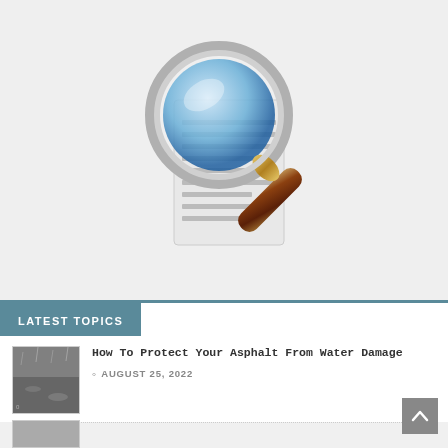[Figure (illustration): Magnifying glass over a document/paper icon on a light gray background]
LATEST TOPICS
[Figure (photo): Small thumbnail photo of wet asphalt/rain on pavement]
How To Protect Your Asphalt From Water Damage
AUGUST 25, 2022